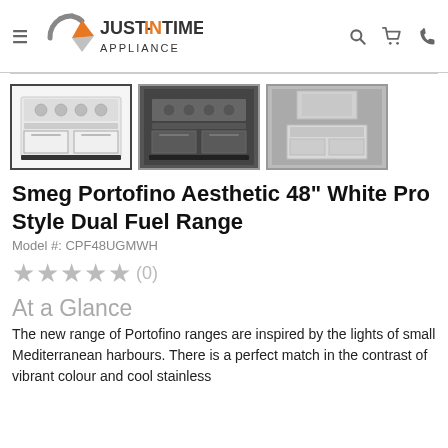Just-In Time Appliance
[Figure (photo): Three thumbnail images of the Smeg Portofino 48" White Pro Style Dual Fuel Range. First image (selected/active) shows white range front view, second shows a darker angled view, third shows the range with a hood above it.]
Smeg Portofino Aesthetic 48" White Pro Style Dual Fuel Range
Model #: CPF48UGMWH
★★★★★ (0)
At a Glance
The new range of Portofino ranges are inspired by the lights of small Mediterranean harbours. There is a perfect match in the contrast of vibrant colour and cool stainless